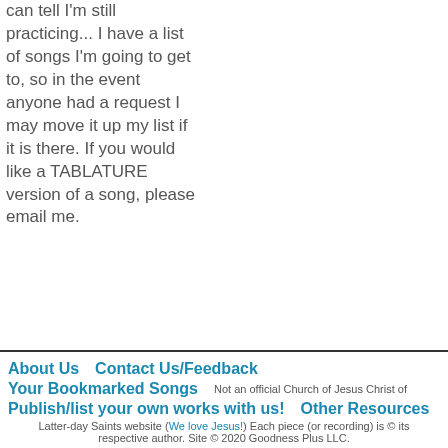can tell I'm still practicing... I have a list of songs I'm going to get to, so in the event anyone had a request I may move it up my list if it is there. If you would like a TABLATURE version of a song, please email me.
About Us   Contact Us/Feedback   Your Bookmarked Songs   Not an official Church of Jesus Christ of   Publish/list your own works with us!   Other Resources   Latter-day Saints website (We love Jesus!) Each piece (or recording) is © its respective author. Site © 2020 Goodness Plus LLC.